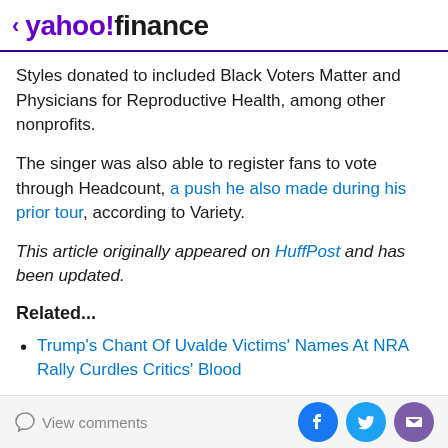< yahoo!finance
Styles donated to included Black Voters Matter and Physicians for Reproductive Health, among other nonprofits.
The singer was also able to register fans to vote through Headcount, a push he also made during his prior tour, according to Variety.
This article originally appeared on HuffPost and has been updated.
Related...
Trump's Chant Of Uvalde Victims' Names At NRA Rally Curdles Critics' Blood
View comments